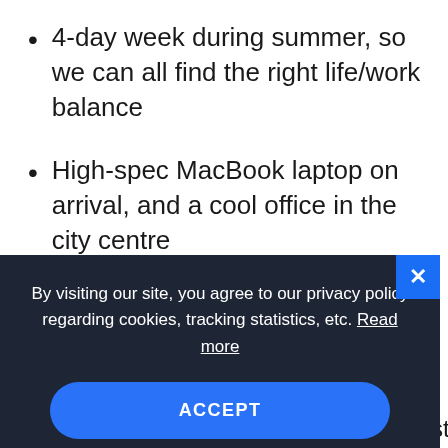4-day week during summer, so we can all find the right life/work balance
High-spec MacBook laptop on arrival, and a cool office in the city centre
Profit-sharing– the whole company
By visiting our site, you agree to our privacy policy regarding cookies, tracking statistics, etc. Read more
ACCEPT
thinking company and taking the next step in